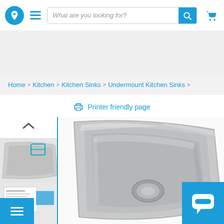Navigation header with logo, hamburger menu, search bar, and cart icon
[Figure (screenshot): Ad banner area (gray placeholder)]
Home > Kitchen > Kitchen Sinks > Undermount Kitchen Sinks >
Printer friendly page
[Figure (photo): Small thumbnail of stainless steel undermount kitchen sink viewed from above]
[Figure (photo): Second thumbnail showing undermount sink detail/installation]
[Figure (photo): Third thumbnail with product spec sheet]
[Figure (photo): Main large product image of stainless steel undermount kitchen sink viewed from above at angle, showing drain hole]